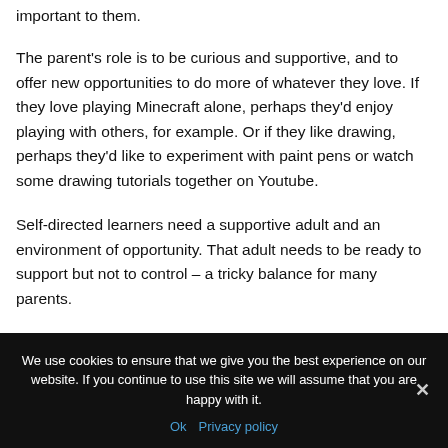important to them.
The parent's role is to be curious and supportive, and to offer new opportunities to do more of whatever they love. If they love playing Minecraft alone, perhaps they'd enjoy playing with others, for example. Or if they like drawing, perhaps they'd like to experiment with paint pens or watch some drawing tutorials together on Youtube.
Self-directed learners need a supportive adult and an environment of opportunity. That adult needs to be ready to support but not to control – a tricky balance for many parents.
We use cookies to ensure that we give you the best experience on our website. If you continue to use this site we will assume that you are happy with it.
Ok   Privacy policy